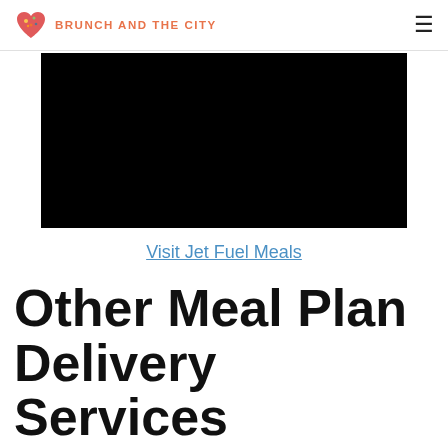BRUNCH AND THE CITY
[Figure (photo): Black rectangular image placeholder, likely a video embed or photo]
Visit Jet Fuel Meals
Other Meal Plan Delivery Services
Considering meal strategy delivery? There are numerous options to choose from